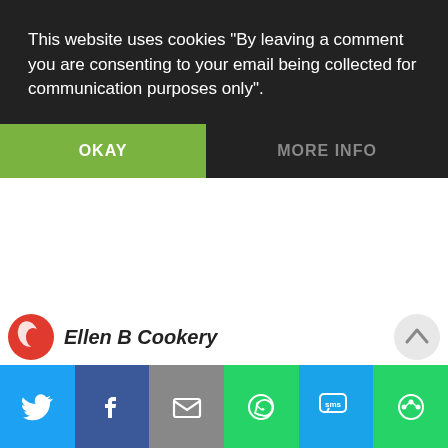This website uses cookies "By leaving a comment you are consenting to your email being collected for communication purposes only".
OKAY
MORE INFO
Ellen B Cookery
[Figure (screenshot): Social share bar with Twitter, Facebook, Email, WhatsApp, SMS, and More buttons]